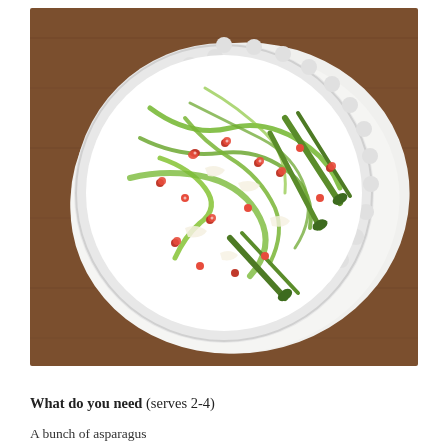[Figure (photo): Overhead view of a white scalloped plate on a white napkin and wooden board, holding a salad of shaved asparagus ribbons, asparagus spears, pomegranate seeds, and shaved Parmesan cheese.]
What do you need (serves 2-4)
A bunch of asparagus